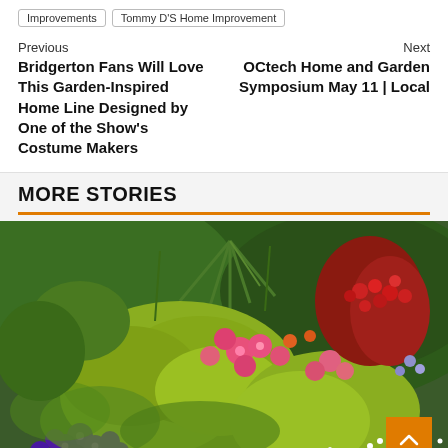Improvements
Tommy D'S Home Improvement
Previous
Bridgerton Fans Will Love This Garden-Inspired Home Line Designed by One of the Show's Costume Makers
Next
OCtech Home and Garden Symposium May 11 | Local
MORE STORIES
[Figure (photo): Colorful garden with flowers including pink and purple petunias, yellow-green foliage, red flowers, and white flowers in a lush garden setting.]